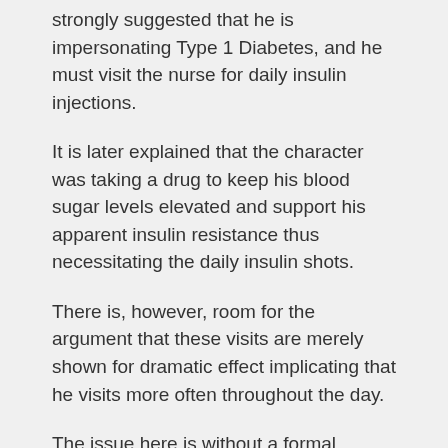strongly suggested that he is impersonating Type 1 Diabetes, and he must visit the nurse for daily insulin injections.
It is later explained that the character was taking a drug to keep his blood sugar levels elevated and support his apparent insulin resistance thus necessitating the daily insulin shots.
There is, however, room for the argument that these visits are merely shown for dramatic effect implicating that he visits more often throughout the day.
The issue here is without a formal explanation, the suggestion that a person living with Type 1 Diabetes simply requires a daily shot to be sustained reigns over the storyline. And so, comes an improper portrayal of